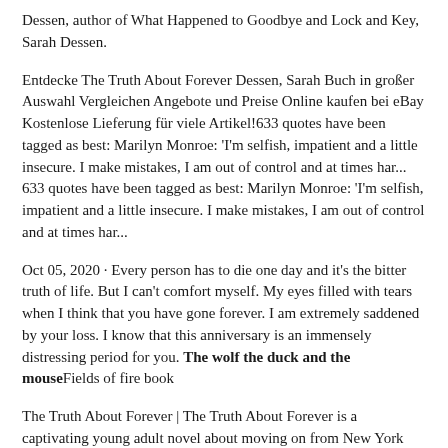Dessen, author of What Happened to Goodbye and Lock and Key, Sarah Dessen.
Entdecke The Truth About Forever Dessen, Sarah Buch in großer Auswahl Vergleichen Angebote und Preise Online kaufen bei eBay Kostenlose Lieferung für viele Artikel!633 quotes have been tagged as best: Marilyn Monroe: 'I'm selfish, impatient and a little insecure. I make mistakes, I am out of control and at times har... 633 quotes have been tagged as best: Marilyn Monroe: 'I'm selfish, impatient and a little insecure. I make mistakes, I am out of control and at times har...
Oct 05, 2020 · Every person has to die one day and it's the bitter truth of life. But I can't comfort myself. My eyes filled with tears when I think that you have gone forever. I am extremely saddened by your loss. I know that this anniversary is an immensely distressing period for you. The wolf the duck and the mouseFields of fire book
The Truth About Forever | The Truth About Forever is a captivating young adult novel about moving on from New York Times Number One bestseller Sarah Dessen, author of What Happened to Goodbye and Lock and Key, Sarah Dessen.Kindle $9.99 Rate this book The Truth About Forever Sarah Dessen 4.12 218,781 ratings8,700 reviews That's what Macy has to look